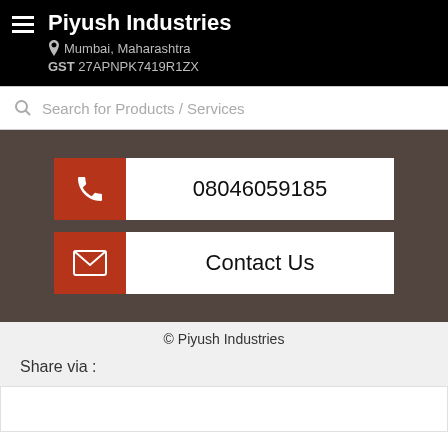Piyush Industries
Mumbai, Maharashtra
GST 27APNPK7419R1ZX
Search for Products / Services
[Figure (screenshot): Dark brown section with two contact buttons: phone number 08046059185 and Contact Us, each with a rust-red icon box on the left]
© Piyush Industries
Share via :